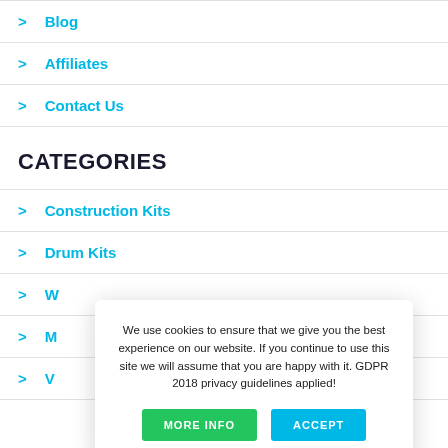Blog
Affiliates
Contact Us
CATEGORIES
Construction Kits
Drum Kits
W...
M...
V...
We use cookies to ensure that we give you the best experience on our website. If you continue to use this site we will assume that you are happy with it. GDPR 2018 privacy guidelines applied!
MORE INFO
ACCEPT